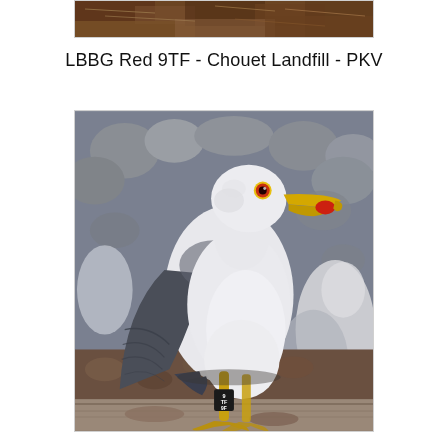[Figure (photo): Top portion of a photo showing a nest or ground with brown/dark material, partially cropped at top of page.]
LBBG Red 9TF - Chouet Landfill - PKV
[Figure (photo): A Lesser Black-backed Gull (LBBG) standing on a wooden ledge at a landfill. The bird has white head and body, dark grey/brown wings, yellow bill with red spot, red eye-ring, and yellow legs. A black ring with white text (9TF) is visible on the left leg. Rocky/stony ground and other gulls are visible in the blurred background.]